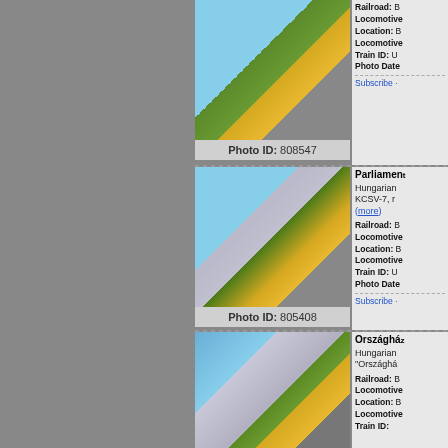[Figure (photo): Yellow tram on street with trees, Photo ID 808547]
Photo ID: 808547
Railroad: B
Locomotive
Location: B
Locomotive
Train ID: U
Photo Date
Subscribe ·
[Figure (photo): Yellow tram in front of Hungarian Parliament building, Photo ID 805408]
Photo ID: 805408
Parliament
Hungarian
KCSV-7, r
(more)
Railroad: B
Locomotive
Location: B
Locomotive
Train ID: U
Photo Date
Subscribe ·
[Figure (photo): Yellow tram in front of Országház (Hungarian Parliament), partial view]
Országház
Hungarian
"Országhá
Railroad: B
Locomotive
Location: B
Locomotive
Train ID: